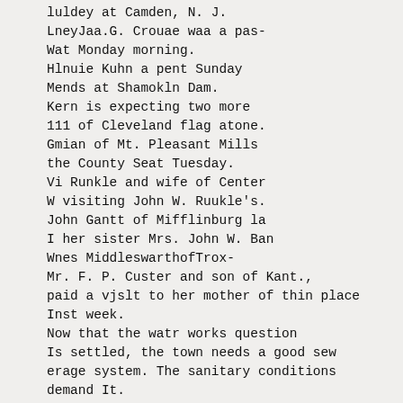luldey at Camden, N. J.
LneyJaa.G. Crouae waa a pas-
Wat Monday morning.
Hlnuie Kuhn a pent Sunday
Mends at Shamokln Dam.
Kern is expecting two more
111 of Cleveland flag atone.
Gmian of Mt. Pleasant Mills
the County Seat Tuesday.
Vi Runkle and wife of Center
W visiting John W. Ruukle's.
John Gantt of Mifflinburg la
I her sister Mrs. John W. Ban
Wnes MiddleswarthofTrox-
Mr. F. P. Custer and son of Kant.,
paid a vjslt to her mother of thin place
Inst week.
Now that the watr works question
Is settled, the town needs a good sew
erage system. The sanitary conditions
demand It.
Dr. A. M. Hmlth of Reaver Hprinirs
wa In towu Katurday. It Is rumored
that the Doctor will be a Caudidbte for